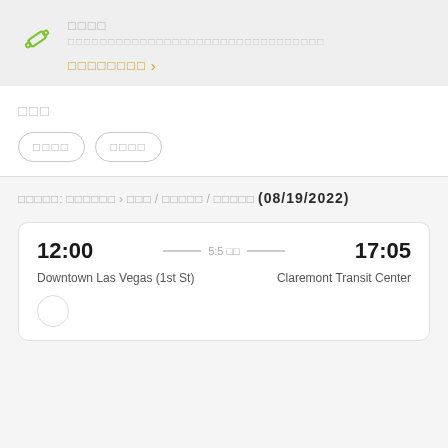[Figure (illustration): Green candy/ticket icon]
□□□□
□□□□□□□□□□□□□□□□□□□□□□□□□□□□□□□□
□□□□□□□□ >
□□□
□□□□   □□□□
□□□□□: □□□□□□ > □□□ / □□□□□ / □□□□□ (08/19/2022)
| Departure | Duration | Arrival |
| --- | --- | --- |
| 12:00 | 5:5 □□ | 17:05 |
| Downtown Las Vegas (1st St) |  | Claremont Transit Center |